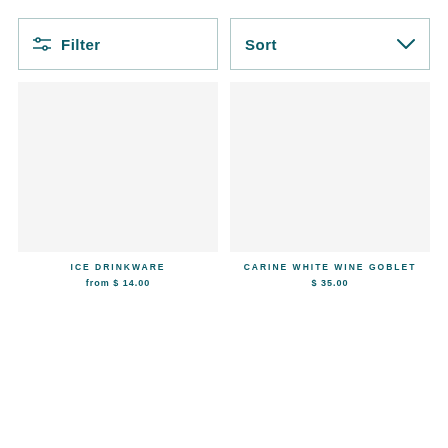Filter
Sort
ICE DRINKWARE
from $ 14.00
CARINE WHITE WINE GOBLET
$ 35.00